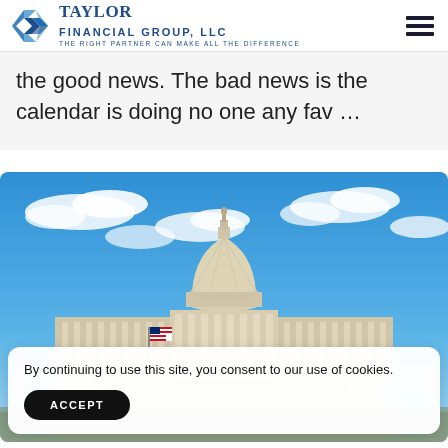Taylor Financial Group, LLC — The right partner can make all the difference
the good news. The bad news is the calendar is doing no one any fav …
[Figure (photo): Photograph of the United States Capitol building under a blue sky with clouds, American flag visible in the foreground]
By continuing to use this site, you consent to our use of cookies.